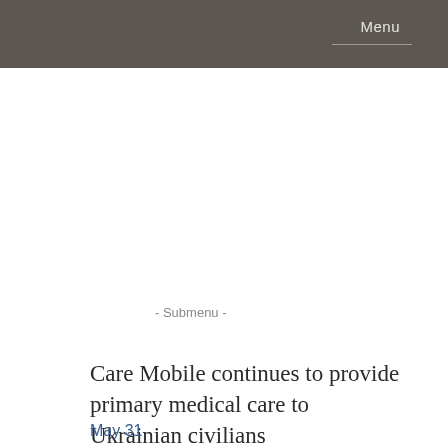Menu
- Submenu -
Care Mobile continues to provide primary medical care to Ukrainian civilians
May 31